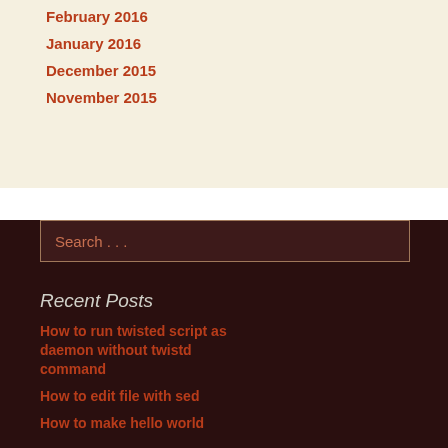February 2016
January 2016
December 2015
November 2015
Search ...
Recent Posts
How to run twisted script as daemon without twistd command
How to edit file with sed
How to make hello world